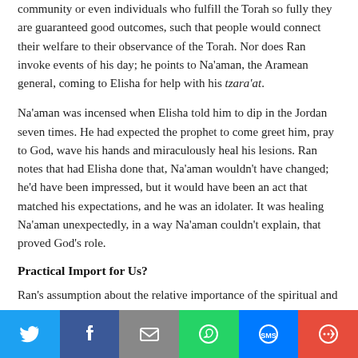community or even individuals who fulfill the Torah so fully they are guaranteed good outcomes, such that people would connect their welfare to their observance of the Torah. Nor does Ran invoke events of his day; he points to Na'aman, the Aramean general, coming to Elisha for help with his tzara'at.
Na'aman was incensed when Elisha told him to dip in the Jordan seven times. He had expected the prophet to come greet him, pray to God, wave his hands and miraculously heal his lesions. Ran notes that had Elisha done that, Na'aman wouldn't have changed; he'd have been impressed, but it would have been an act that matched his expectations, and he was an idolater. It was healing Na'aman unexpectedly, in a way Na'aman couldn't explain, that proved God's role.
Practical Import for Us?
Ran's assumption about the relative importance of the spiritual and the physical isn't unusual among medieval Jewish thinkers, but it is...